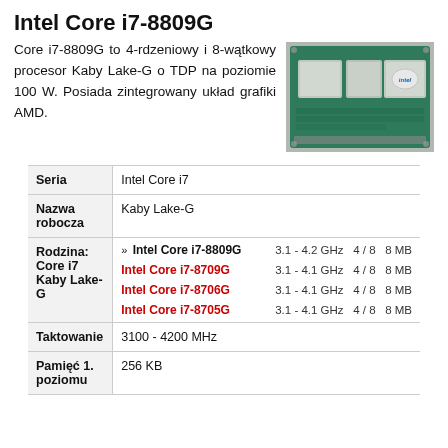Intel Core i7-8809G
Core i7-8809G to 4-rdzeniowy i 8-wątkowy procesor Kaby Lake-G o TDP na poziomie 100 W. Posiada zintegrowany układ grafiki AMD.
[Figure (photo): Intel Kaby Lake-G chip photo showing the processor package with AMD graphics]
|  |  |
| --- | --- |
| Seria | Intel Core i7 |
| Nazwa robocza | Kaby Lake-G |
| Rodzina: Core i7 Kaby Lake-G | » Intel Core i7-8809G  3.1 - 4.2 GHz  4 / 8  8 MB | Intel Core i7-8709G  3.1 - 4.1 GHz  4 / 8  8 MB | Intel Core i7-8706G  3.1 - 4.1 GHz  4 / 8  8 MB | Intel Core i7-8705G  3.1 - 4.1 GHz  4 / 8  8 MB |
| Taktowanie | 3100 - 4200 MHz |
| Pamięć 1. poziomu | 256 KB |